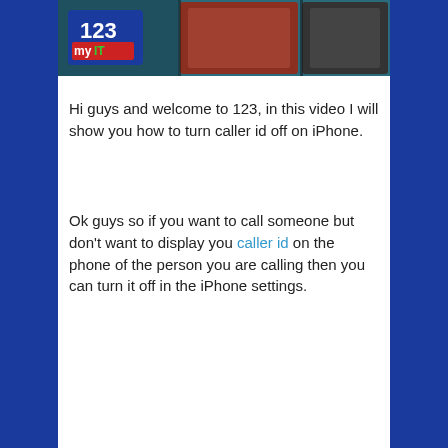[Figure (screenshot): Thumbnail image showing a YouTube-style video thumbnail with '123 myIT' logo on the left and smartphone screens on a teal/dark background]
Hi guys and welcome to 123, in this video I will show you how to turn caller id off on iPhone.
Ok guys so if you want to call someone but don't want to display you caller id on the phone of the person you are calling then you can turn it off in the iPhone settings.